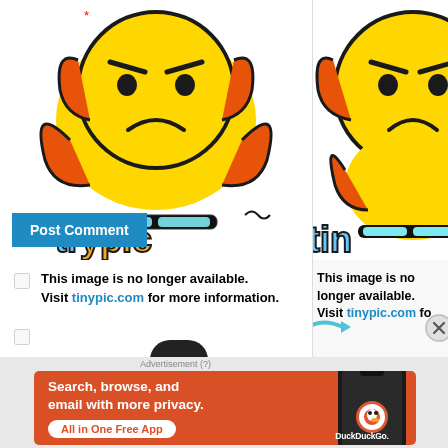[Figure (screenshot): Tinypic 'image no longer available' placeholder - left column, showing angry emoji and tinypic logo]
[Figure (screenshot): Tinypic 'image no longer available' placeholder - right column, partial view]
Post Comment
This image is no longer available. Visit tinypic.com for more information.
This image is no longer available. Visit tinypic.com fo
Advertisement (?)
[Figure (screenshot): DuckDuckGo advertisement banner: Search, browse, and email with more privacy. All in One Free App. Shows phone with DuckDuckGo logo.]